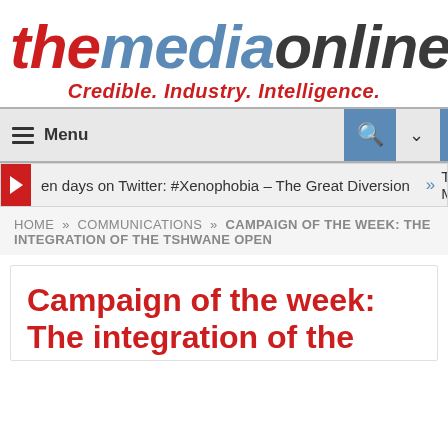themediaonline — Credible. Industry. Intelligence.
Menu
ten days on Twitter: #Xenophobia – The Great Diversion » The Ma
HOME » COMMUNICATIONS » CAMPAIGN OF THE WEEK: THE INTEGRATION OF THE TSHWANE OPEN
Campaign of the week: The integration of the